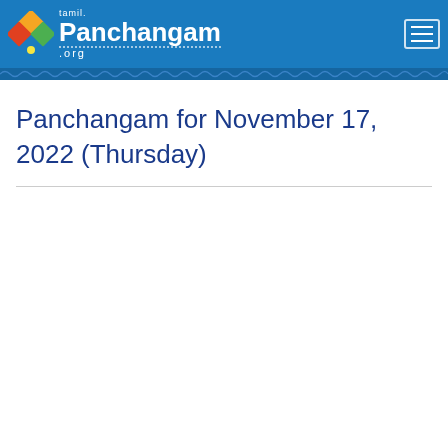[Figure (logo): tamil.Panchangam.org logo with colorful diamond/kite shape icon and white text on blue header background, with hamburger menu button on right]
Panchangam for November 17, 2022 (Thursday)